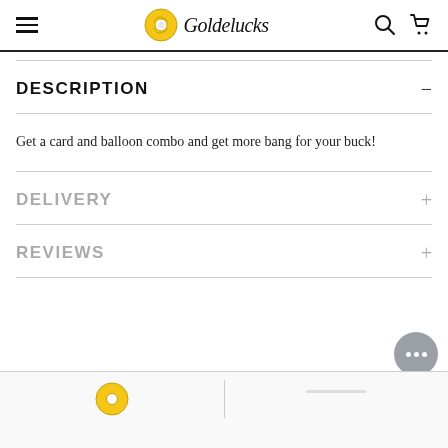Goldelucks
DESCRIPTION
Get a card and balloon combo and get more bang for your buck!
DELIVERY
REVIEWS